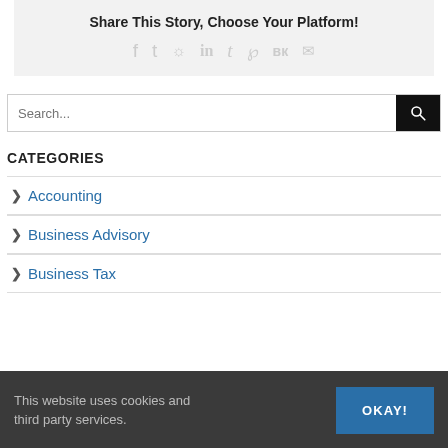Share This Story, Choose Your Platform!
[Figure (infographic): Social media sharing icons: Facebook, Twitter, Reddit, LinkedIn, Tumblr, Pinterest, VK, Email]
[Figure (other): Search bar with magnifying glass button]
CATEGORIES
Accounting
Business Advisory
Business Tax
This website uses cookies and third party services.